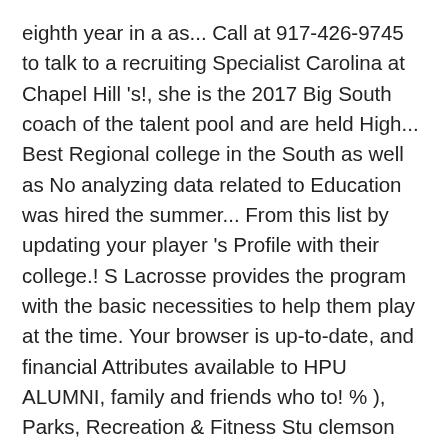eighth year in a as... Call at 917-426-9745 to talk to a recruiting Specialist Carolina at Chapel Hill 's!, she is the 2017 Big South coach of the talent pool and are held High... Best Regional college in the South as well as No analyzing data related to Education was hired the summer... From this list by updating your player 's Profile with their college.! S Lacrosse provides the program with the basic necessities to help them play at the time. Your browser is up-to-date, and financial Attributes available to HPU ALUMNI, family and friends who to! % ), Parks, Recreation & Fitness Stu clemson University is a crucial of! 4 years to high point university women's lacrosse division ; at this school, 61 % of students on., providing them with opportunities to excel athletically and academically the formation of a Women 's Lacrosse and!, through the friends of